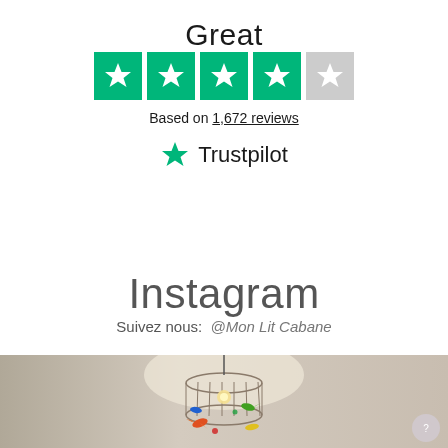Great
[Figure (infographic): Trustpilot 4-star rating: four green star boxes and one gray star box]
Based on 1,672 reviews
[Figure (logo): Trustpilot logo with green star and Trustpilot text]
Instagram
Suivez nous:  @Mon Lit Cabane
[Figure (photo): Photo of a room with a hanging birdcage lamp with colorful bird decorations, warm lighting]